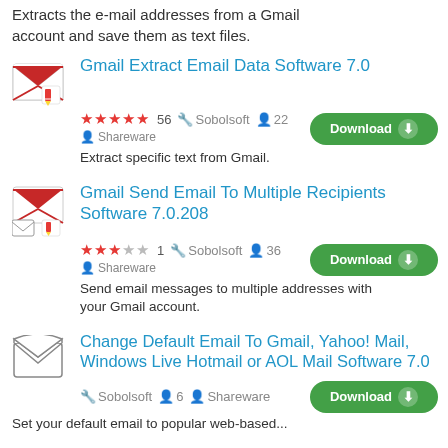Extracts the e-mail addresses from a Gmail account and save them as text files.
Gmail Extract Email Data Software 7.0
★★★★★ 56  🔧 Sobolsoft  👤 22  Shareware  [Download]
Extract specific text from Gmail.
Gmail Send Email To Multiple Recipients Software 7.0.208
★★★☆☆ 1  🔧 Sobolsoft  👤 36  Shareware  [Download]
Send email messages to multiple addresses with your Gmail account.
Change Default Email To Gmail, Yahoo! Mail, Windows Live Hotmail or AOL Mail Software 7.0
🔧 Sobolsoft  👤 6  Shareware  [Download]
Set your default email to popular web-based...